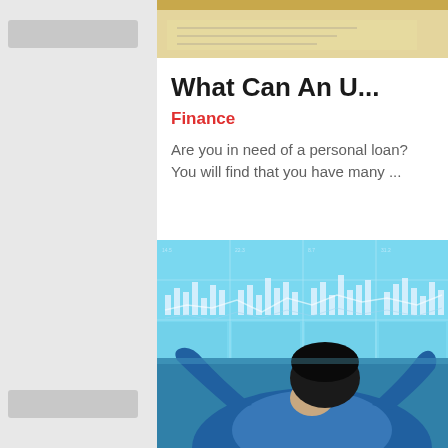[Figure (photo): Top strip showing financial documents and coins, partially visible]
What Can An U...
Finance
Are you in need of a personal loan? You will find that you have many ...
[Figure (photo): Person sitting with arms raised viewing financial charts and data on large display screens]